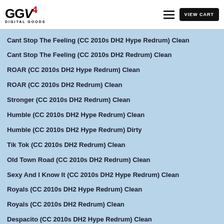GCV4 DIGITAL GOODS — VIEW CART
Cant Stop The Feeling (CC 2010s DH2 Hype Redrum) Clean
Cant Stop The Feeling (CC 2010s DH2 Redrum) Clean
ROAR (CC 2010s DH2 Hype Redrum) Clean
ROAR (CC 2010s DH2 Redrum) Clean
Stronger (CC 2010s DH2 Redrum) Clean
Humble (CC 2010s DH2 Hype Redrum) Clean
Humble (CC 2010s DH2 Hype Redrum) Dirty
Tik Tok (CC 2010s DH2 Redrum) Clean
Old Town Road (CC 2010s DH2 Redrum) Clean
Sexy And I Know It (CC 2010s DH2 Hype Redrum) Clean
Royals (CC 2010s DH2 Hype Redrum) Clean
Royals (CC 2010s DH2 Redrum) Clean
Despacito (CC 2010s DH2 Hype Redrum) Clean
Thrift Shop (CC 2010s DH2 Hype Redrum) Clean